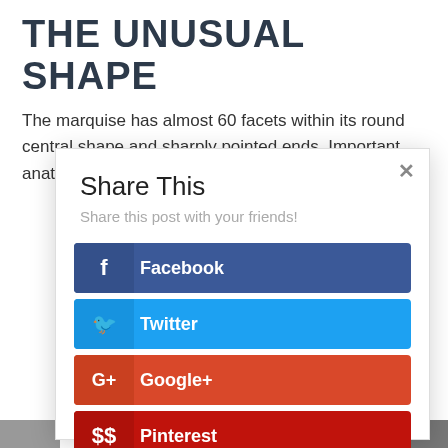THE UNUSUAL SHAPE
The marquise has almost 60 facets within its round central shape and sharply pointed ends. Important anatomical features include:
[Figure (screenshot): A social sharing modal dialog box with title 'Share This', subtitle 'Share this post with your friends!', and four share buttons: Facebook (dark blue), Twitter (light blue), Google+ (orange-red), and Pinterest (dark red). An X close button is in the top-right corner.]